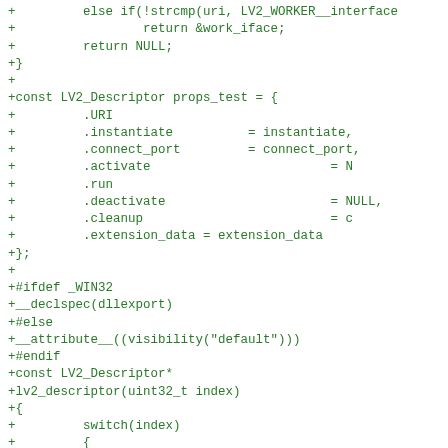[Figure (screenshot): Green-colored code diff showing C source code with LV2 plugin descriptor definition, ifdef WIN32 block, and lv2_descriptor function with switch statement. All lines prefixed with '+' indicating additions in a diff.]